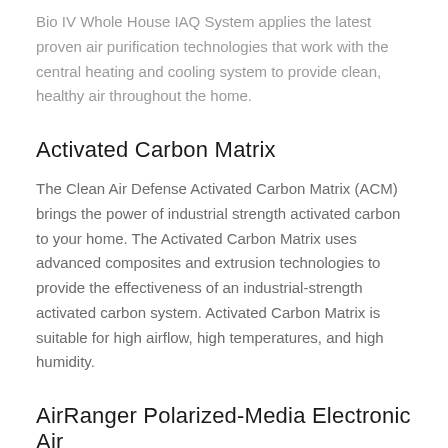Bio IV Whole House IAQ System applies the latest proven air purification technologies that work with the central heating and cooling system to provide clean, healthy air throughout the home.
Activated Carbon Matrix
The Clean Air Defense Activated Carbon Matrix (ACM) brings the power of industrial strength activated carbon to your home. The Activated Carbon Matrix uses advanced composites and extrusion technologies to provide the effectiveness of an industrial-strength activated carbon system. Activated Carbon Matrix is suitable for high airflow, high temperatures, and high humidity.
AirRanger Polarized-Media Electronic Air